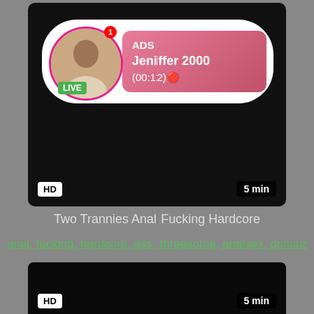[Figure (screenshot): Video thumbnail showing an ad banner with a live user avatar, LIVE badge, and ad text: ADS, Jeniffer 2000, (00:12). HD badge bottom-left, 5 min badge bottom-right. Dark background.]
Two Trannies Anal Fucking Hardcore
anal, fucking, hardcore, ass, threesome, analsex, domina...
[Figure (screenshot): Dark/black video thumbnail placeholder with HD badge bottom-left and 5 min badge bottom-right.]